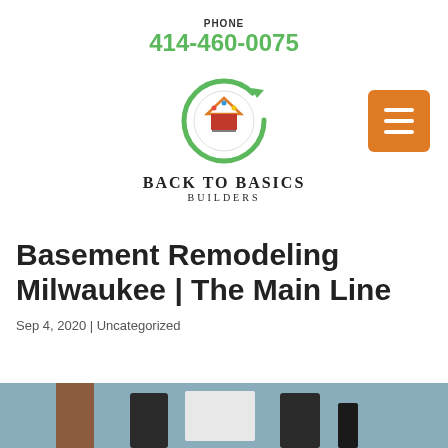PHONE
414-460-0075
[Figure (logo): Back To Basics Builders logo with circular green arrow icon and house/tools symbol, with brand name 'Back To Basics Builders']
Basement Remodeling Milwaukee | The Main Line
Sep 4, 2020 | Uncategorized
[Figure (photo): Partial photo of a basement or construction scene at the bottom of the page]